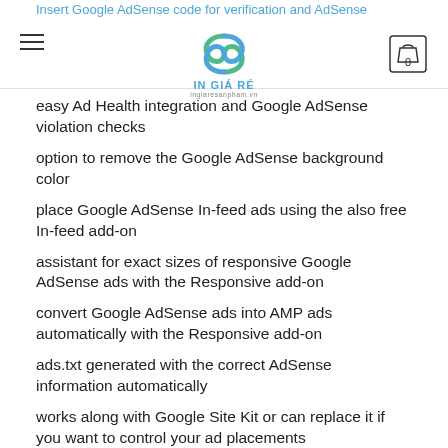Insert Google AdSense code for verification and AdSense Auto Ads — Enable AdSense Auto ads — In Giá Ré
easy Ad Health integration and Google AdSense violation checks
option to remove the Google AdSense background color
place Google AdSense In-feed ads using the also free In-feed add-on
assistant for exact sizes of responsive Google AdSense ads with the Responsive add-on
convert Google AdSense ads into AMP ads automatically with the Responsive add-on
ads.txt generated with the correct AdSense information automatically
works along with Google Site Kit or can replace it if you want to control your ad placements
Like j4ckson185, there are thousands of happy AdSense users: